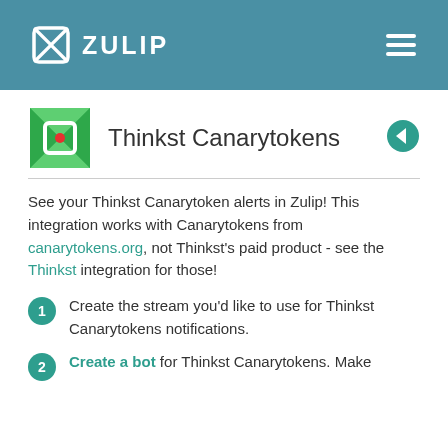ZULIP
[Figure (logo): Thinkst Canarytokens logo: green square icon with envelope/cross design and red dot center]
Thinkst Canarytokens
See your Thinkst Canarytoken alerts in Zulip! This integration works with Canarytokens from canarytokens.org, not Thinkst's paid product - see the Thinkst integration for those!
Create the stream you'd like to use for Thinkst Canarytokens notifications.
Create a bot for Thinkst Canarytokens. Make